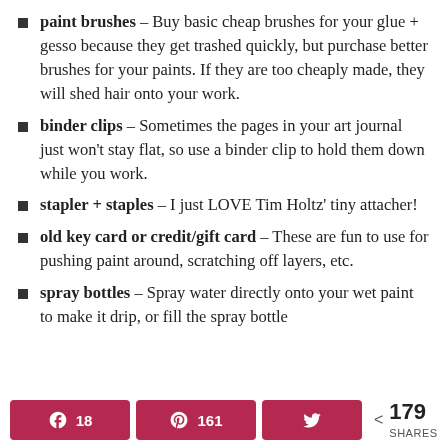paint brushes – Buy basic cheap brushes for your glue + gesso because they get trashed quickly, but purchase better brushes for your paints. If they are too cheaply made, they will shed hair onto your work.
binder clips – Sometimes the pages in your art journal just won't stay flat, so use a binder clip to hold them down while you work.
stapler + staples – I just LOVE Tim Holtz' tiny attacher!
old key card or credit/gift card – These are fun to use for pushing paint around, scratching off layers, etc.
spray bottles – Spray water directly onto your wet paint to make it drip, or fill the spray bottle
18 · 161 · 179 SHARES